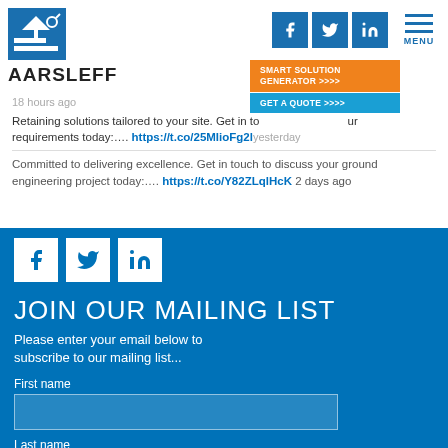[Figure (logo): Aarsleff logo with blue icon and bold black AARSLEFF text]
[Figure (infographic): Social media icons (Facebook, Twitter, LinkedIn) and MENU button in header]
[Figure (infographic): Orange SMART SOLUTION GENERATOR >>>> button and blue GET A QUOTE >>>> button]
18 hours ago
Retaining solutions tailored to your site. Get in touch to discuss your requirements today:.... https://t.co/25MIioFg2lyesterday
Committed to delivering excellence. Get in touch to discuss your ground engineering project today:.... https://t.co/Y82ZLqlHcK 2 days ago
[Figure (infographic): White Facebook, Twitter, LinkedIn square icons on blue background]
JOIN OUR MAILING LIST
Please enter your email below to subscribe to our mailing list...
First name
Last name